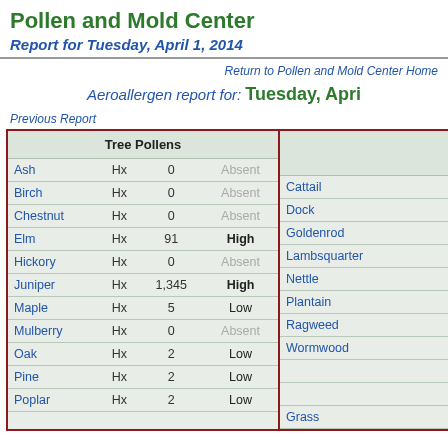Pollen and Mold Center
Report for Tuesday, April 1, 2014
Return to Pollen and Mold Center Home
Aeroallergen report for: Tuesday, April 1, 2014
Previous Report
| Tree Pollens |  |  |  |
| --- | --- | --- | --- |
| Ash | Hx | 0 | Absent |
| Birch | Hx | 0 | Absent |
| Chestnut | Hx | 0 | Absent |
| Elm | Hx | 91 | High |
| Hickory | Hx | 0 | Absent |
| Juniper | Hx | 1,345 | High |
| Maple | Hx | 5 | Low |
| Mulberry | Hx | 0 | Absent |
| Oak | Hx | 2 | Low |
| Pine | Hx | 2 | Low |
| Poplar | Hx | 2 | Low |
|  |
| --- |
| Cattail |
| Dock |
| Goldenrod |
| Lambsquarter |
| Nettle |
| Plantain |
| Ragweed |
| Wormwood |
|  |
|  |
| Grass |